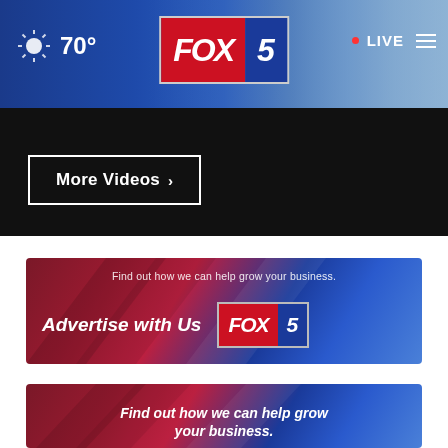[Figure (screenshot): FOX 5 news website header bar with weather (sun icon, 70°), FOX 5 logo in center, LIVE indicator and hamburger menu on right, city skyline background]
More Videos ›
[Figure (screenshot): FOX 5 advertise banner: 'Find out how we can help grow your business.' with 'Advertise with Us' text and FOX 5 logo on red-to-blue gradient background]
[Figure (screenshot): Bottom FOX 5 advertise banner: 'Find out how we can help grow your business.' on red-to-blue gradient background]